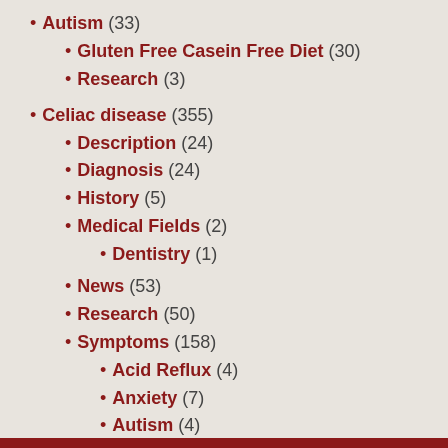Autism (33)
Gluten Free Casein Free Diet (30)
Research (3)
Celiac disease (355)
Description (24)
Diagnosis (24)
History (5)
Medical Fields (2)
Dentistry (1)
News (53)
Research (50)
Symptoms (158)
Acid Reflux (4)
Anxiety (7)
Autism (4)
Bone Fractures (3)
Bone Health (6)
Bone Pain (5)
Bovine Beta Casein Enteropathy (1)
Bruising (2)